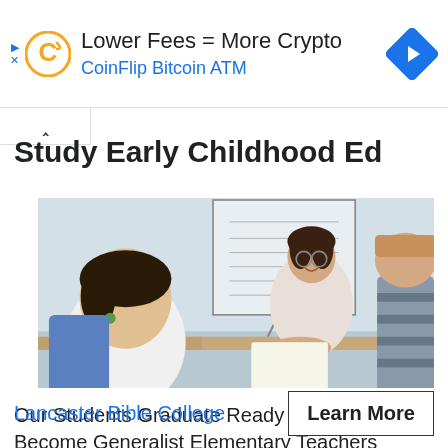[Figure (other): Advertisement banner: CoinFlip Bitcoin ATM. 'Lower Fees = More Crypto' with CoinFlip logo and navigation arrow icon.]
Study Early Childhood Ed
[Figure (photo): Photo of a female teacher with curly dark hair and glasses smiling at students in a classroom setting, with a whiteboard in the background.]
Our Students Graduate Ready and Prepared to Become Generalist Elementary Teachers
Lancaster Bible College
Learn More